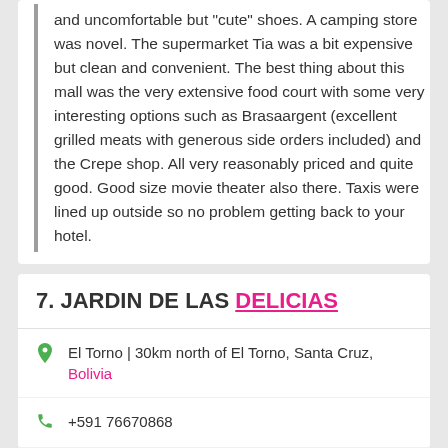and uncomfortable but "cute" shoes. A camping store was novel. The supermarket Tia was a bit expensive but clean and convenient. The best thing about this mall was the very extensive food court with some very interesting options such as Brasaargent (excellent grilled meats with generous side orders included) and the Crepe shop. All very reasonably priced and quite good. Good size movie theater also there. Taxis were lined up outside so no problem getting back to your hotel.
7. JARDIN DE LAS DELICIAS
El Torno | 30km north of El Torno, Santa Cruz, Bolivia
+591 76670868